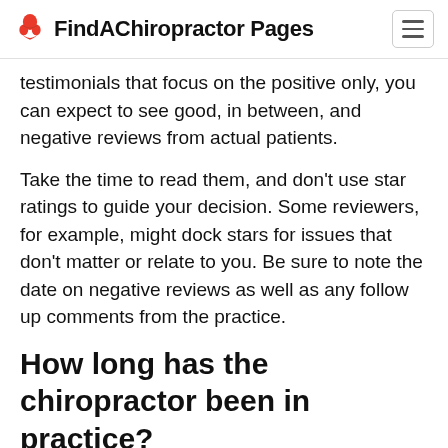FindAChiropractor Pages
testimonials that focus on the positive only, you can expect to see good, in between, and negative reviews from actual patients.
Take the time to read them, and don't use star ratings to guide your decision. Some reviewers, for example, might dock stars for issues that don't matter or relate to you. Be sure to note the date on negative reviews as well as any follow up comments from the practice.
How long has the chiropractor been in practice?